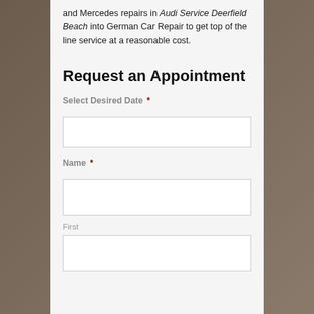and Mercedes repairs in Audi Service Deerfield Beach into German Car Repair to get top of the line service at a reasonable cost.
Request an Appointment
Select Desired Date *
Name *
First